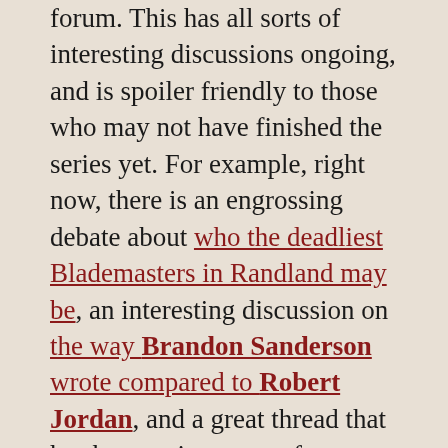forum. This has all sorts of interesting discussions ongoing, and is spoiler friendly to those who may not have finished the series yet. For example, right now, there is an engrossing debate about who the deadliest Blademasters in Randland may be, an interesting discussion on the way Brandon Sanderson wrote compared to Robert Jordan, and a great thread that has been going strong for some years where you can ask a simple question, get a simple answer to anything you have come across in the series you found confusing, and that's just a brief selection of the topics on offer.
There really is plenty to get involved in on these Dragonmount boards and they are one of the most popular features of the site, so feel free to join in and have your say or benefit from hearing other people's opinions.